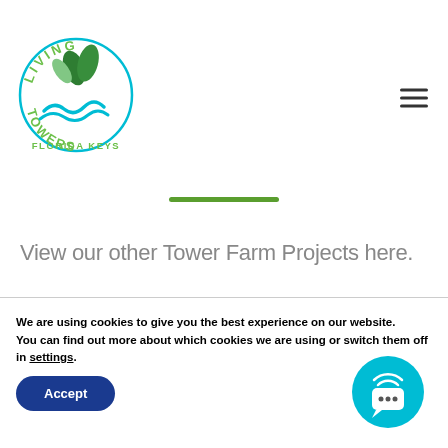[Figure (logo): Living Towers Florida Keys logo — circular teal border with green leaf plant and blue wave, text 'LIVING TOWERS FLORIDA KEYS']
View our other Tower Farm Projects here.
We are using cookies to give you the best experience on our website.
You can find out more about which cookies we are using or switch them off in settings.
[Figure (other): Accept button (dark blue rounded pill) and chat widget (teal circle with broadcast icon)]